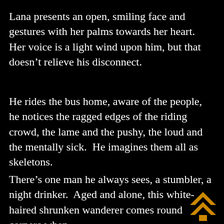Lana presents an open, smiling face and gestures with her palms towards her heart.  Her voice is a light wind upon him, but that doesn't relieve his disconnect.
He rides the bus home, aware of the people, he notices the ragged edges of the riding crowd, the lame and the pushy, the loud and the mentally sick.  He imagines them all as skeletons.
There's one man he always sees, a stumbler, a night drinker.  Aged and alone, this white-haired shrunken wanderer comes round corners when
[Figure (logo): Orange/gold double chevron upward arrow logo icon, overlaid in the lower-right area of the third paragraph]